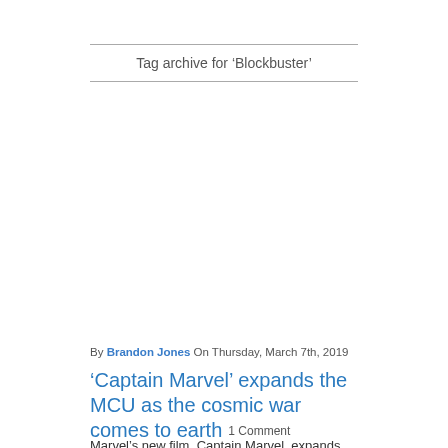Tag archive for ‘Blockbuster’
By Brandon Jones On Thursday, March 7th, 2019
‘Captain Marvel’ expands the MCU as the cosmic war comes to earth
Marvel’s new film, Captain Marvel, expands the